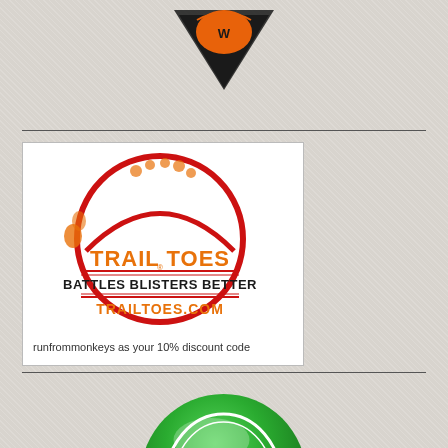[Figure (logo): Partial orange and black logo at top center, appears to be a shield or badge shape]
[Figure (logo): Trail Toes circular logo - red circle border with orange footprints and mountain arch design, text: TRAIL TOES BATTLES BLISTERS BETTER TRAILTOES.COM]
runfrommonkeys as your 10% discount code
[Figure (logo): Glad Soles green circular badge logo with white outlined text GLAD SOLES]